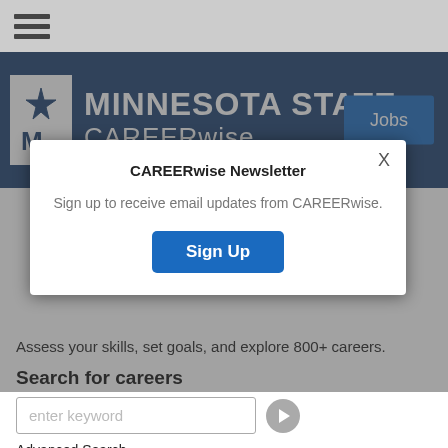[Figure (screenshot): Hamburger menu icon (three horizontal bars) on gray navigation bar]
[Figure (logo): Minnesota State CAREERwise logo with star and M emblem on dark blue banner, with Jobs button]
[Figure (screenshot): Modal popup: CAREERwise Newsletter signup dialog with Sign Up button and X close button]
Assess your skills, set goals, and explore 800+ careers.
Search for careers
enter keyword
Advanced Search
Browse Career Clusters
See All Careers